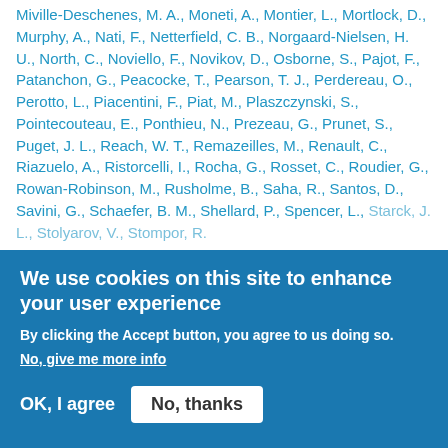Miville-Deschenes, M. A., Moneti, A., Montier, L., Mortlock, D., Murphy, A., Nati, F., Netterfield, C. B., Norgaard-Nielsen, H. U., North, C., Noviello, F., Novikov, D., Osborne, S., Pajot, F., Patanchon, G., Peacocke, T., Pearson, T. J., Perdereau, O., Perotto, L., Piacentini, F., Piat, M., Plaszczynski, S., Pointecouteau, E., Ponthieu, N., Prezeau, G., Prunet, S., Puget, J. L., Reach, W. T., Remazeilles, M., Renault, C., Riazuelo, A., Ristorcelli, I., Rocha, G., Rosset, C., Roudier, G., Rowan-Robinson, M., Rusholme, B., Saha, R., Santos, D., Savini, G., Schaefer, B. M., Shellard, P., Spencer, L., Starck, J. L., Stolyarov, V., Stompor, R.
We use cookies on this site to enhance your user experience
By clicking the Accept button, you agree to us doing so.
No, give me more info
OK, I agree
No, thanks